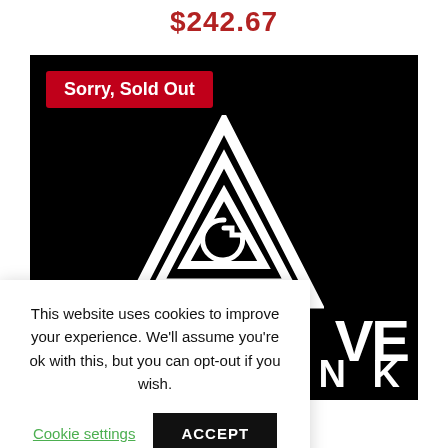$242.67
[Figure (photo): Black background product image showing a white triangular logo (nested triangles with a 'G' shape inside) and partial text 'VE NK' visible on the right side, with a red 'Sorry, Sold Out' badge in the top left corner.]
This website uses cookies to improve your experience. We'll assume you're ok with this, but you can opt-out if you wish.
Cookie settings  ACCEPT